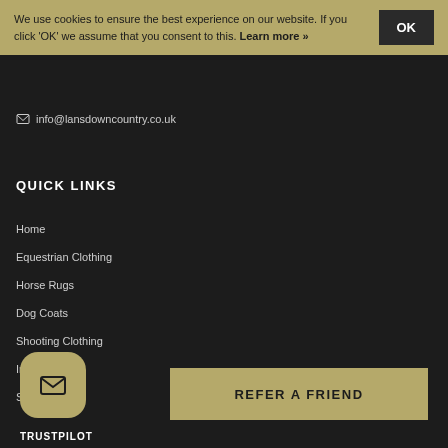We use cookies to ensure the best experience on our website. If you click 'OK' we assume that you consent to this. Learn more »
info@lansdowncountry.co.uk
QUICK LINKS
Home
Equestrian Clothing
Horse Rugs
Dog Coats
Shooting Clothing
Info
Si...
[Figure (illustration): Email/envelope icon widget with rounded square golden background]
REFER A FRIEND
TRUSTPILOT